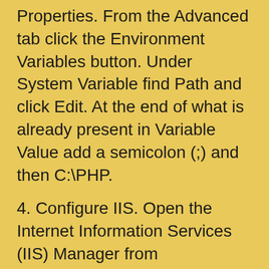Properties. From the Advanced tab click the Environment Variables button. Under System Variable find Path and click Edit. At the end of what is already present in Variable Value add a semicolon (;) and then C:\PHP.
4. Configure IIS. Open the Internet Information Services (IIS) Manager from Administrative Tools (found directly in the Start menu or in the Control Panel)
a) Web Service Extension. Click down to the Web Service Extension folder. Right click the folder and select Add New Web Service Extension. Set Extension Name to PHP and